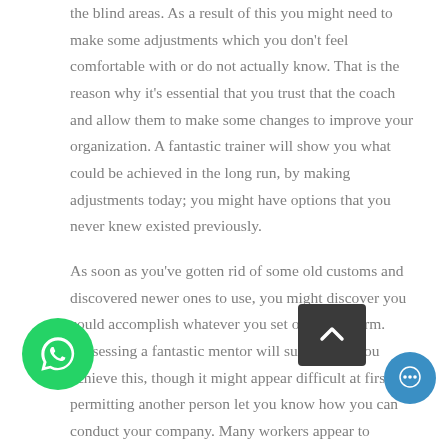the blind areas. As a result of this you might need to make some adjustments which you don't feel comfortable with or do not actually know. That is the reason why it's essential that you trust that the coach and allow them to make some changes to improve your organization. A fantastic trainer will show you what could be achieved in the long run, by making adjustments today; you might have options that you never knew existed previously.
As soon as you've gotten rid of some old customs and discovered newer ones to use, you might discover you could accomplish whatever you set out to perform. Possessing a fantastic mentor will surely help you achieve this, though it might appear difficult at first permitting another person let you know how you can conduct your company. Many workers appear to achieve more if they have a mentor helping them along the way; this is a really good reason for a company to employ a mentor. Sometimes the company might want
[Figure (other): WhatsApp floating action button (green circle with phone icon)]
[Figure (other): Scroll-to-top button (dark rectangle with upward chevron arrow)]
[Figure (other): Chat bubble floating button (blue circle with chat icon)]